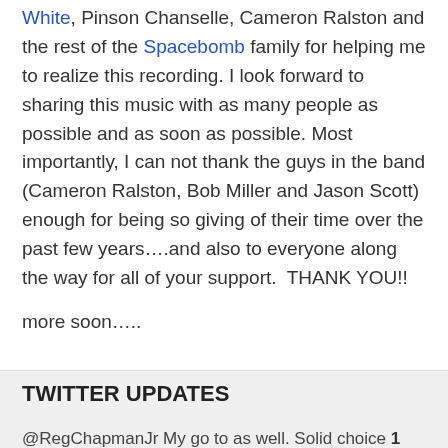White, Pinson Chanselle, Cameron Ralston and the rest of the Spacebomb family for helping me to realize this recording. I look forward to sharing this music with as many people as possible and as soon as possible. Most importantly, I can not thank the guys in the band (Cameron Ralston, Bob Miller and Jason Scott) enough for being so giving of their time over the past few years….and also to everyone along the way for all of your support.  THANK YOU!!
more soon…..
TWITTER UPDATES
@RegChapmanJr My go to as well. Solid choice 1 month ago
I can't wait to play @gallery5arts on July 22nd. Get your tickets now. I'll be joined by @adamhop @mambobob &… twitter.com/i/web/status/1… 1 month ago